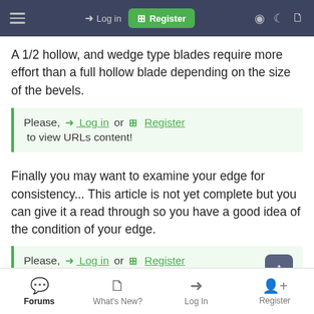Log in | Register
A 1/2 hollow, and wedge type blades require more effort than a full hollow blade depending on the size of the bevels.
Please, Log in or Register to view URLs content!
Finally you may want to examine your edge for consistency... This article is not yet complete but you can give it a read through so you have a good idea of the condition of your edge.
Please, Log in or Register to view URLs content!
Forums | What's New? | Log In | Register